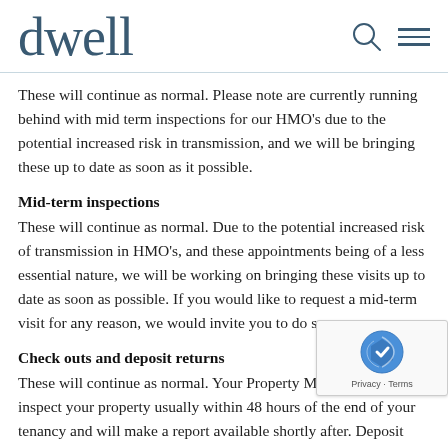dwell
These will continue as normal. Please note are currently running behind with mid term inspections for our HMO's due to the potential increased risk in transmission, and we will be bringing these up to date as soon as it possible.
Mid-term inspections
These will continue as normal. Due to the potential increased risk of transmission in HMO's, and these appointments being of a less essential nature, we will be working on bringing these visits up to date as soon as possible. If you would like to request a mid-term visit for any reason, we would invite you to do so.
Check outs and deposit returns
These will continue as normal. Your Property Manager will inspect your property usually within 48 hours of the end of your tenancy and will make a report available shortly after. Deposit return times are unaffected.